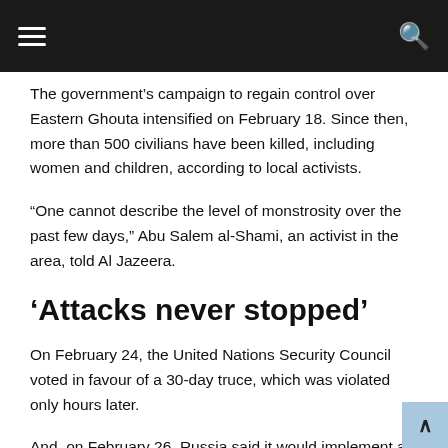Navigation bar with hamburger menu and search icon
The government’s campaign to regain control over Eastern Ghouta intensified on February 18. Since then, more than 500 civilians have been killed, including women and children, according to local activists.
“One cannot describe the level of monstrosity over the past few days,” Abu Salem al-Shami, an activist in the area, told Al Jazeera.
‘Attacks never stopped’
On February 24, the United Nations Security Council voted in favour of a 30-day truce, which was violated only hours later.
And, on February 26, Russia said it would implement a five-hour ceasefire daily as well as evacuation corridors to allow the area’s 400,000 residents to escape the bombing campaign.